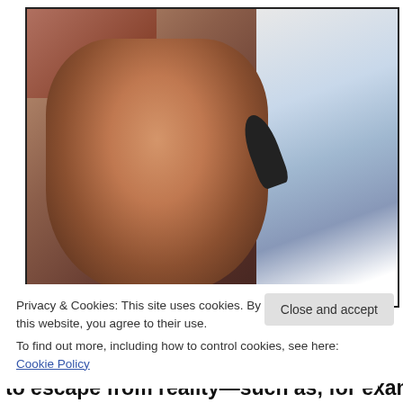[Figure (photo): A man lying or positioned at an angle in what appears to be a tanning bed or similar enclosed space. The image is taken from close range. On the right side are blue and white striped surfaces. A small dark figure or tattoo is visible on the right side.]
Privacy & Cookies: This site uses cookies. By continuing to use this website, you agree to their use.
To find out more, including how to control cookies, see here: Cookie Policy
Close and accept
to escape from reality—such as, for example, alcohol,